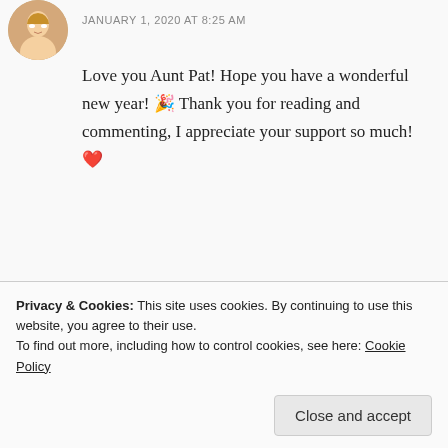[Figure (photo): Circular avatar photo of a woman with blonde hair, smiling]
JANUARY 1, 2020 AT 8:25 AM
Love you Aunt Pat! Hope you have a wonderful new year! 🎉 Thank you for reading and commenting, I appreciate your support so much!❤
★ Like
REPLY
Privacy & Cookies: This site uses cookies. By continuing to use this website, you agree to their use.
To find out more, including how to control cookies, see here: Cookie Policy
Close and accept